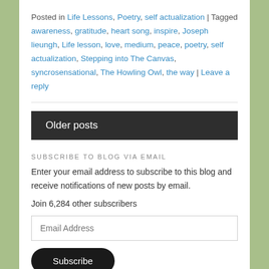Posted in Life Lessons, Poetry, self actualization | Tagged awareness, gratitude, heart song, inspire, Joseph lieungh, Life lesson, love, medium, peace, poetry, self actualization, Stepping into The Canvas, syncrosensational, The Howling Owl, the way | Leave a reply
Older posts
SUBSCRIBE TO BLOG VIA EMAIL
Enter your email address to subscribe to this blog and receive notifications of new posts by email.
Join 6,284 other subscribers
Email Address
Subscribe